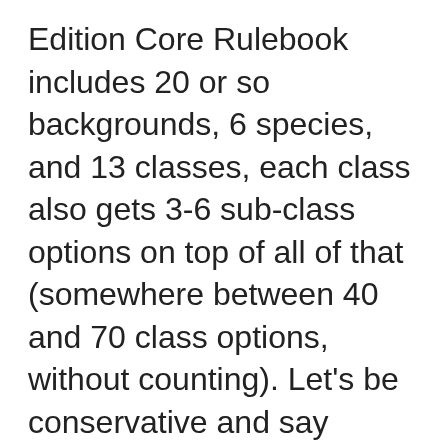Edition Core Rulebook includes 20 or so backgrounds, 6 species, and 13 classes, each class also gets 3-6 sub-class options on top of all of that (somewhere between 40 and 70 class options, without counting). Let's be conservative and say around 5,000 combinations. On reading through, I had the strong feeling that I need an app for this. And I'm saying this as someone who played Pathfinder, ran